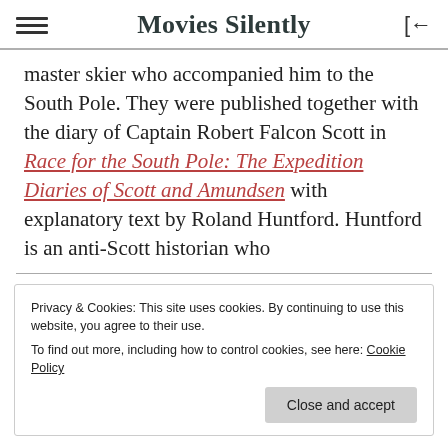Movies Silently
master skier who accompanied him to the South Pole. They were published together with the diary of Captain Robert Falcon Scott in Race for the South Pole: The Expedition Diaries of Scott and Amundsen with explanatory text by Roland Huntford. Huntford is an anti-Scott historian who
Privacy & Cookies: This site uses cookies. By continuing to use this website, you agree to their use.
To find out more, including how to control cookies, see here: Cookie Policy
publication, he can generally be seen as a